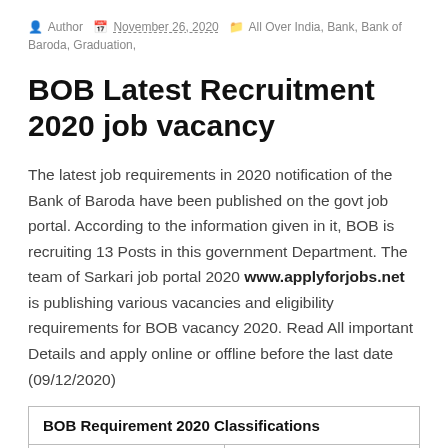Author  November 26, 2020  All Over India, Bank, Bank of Baroda, Graduation,
BOB Latest Recruitment 2020 job vacancy
The latest job requirements in 2020 notification of the Bank of Baroda have been published on the govt job portal. According to the information given in it, BOB is recruiting 13 Posts in this government Department. The team of Sarkari job portal 2020 www.applyforjobs.net is publishing various vacancies and eligibility requirements for BOB vacancy 2020. Read All important Details and apply online or offline before the last date (09/12/2020)
| BOB Requirement 2020 Classifications |  |
| --- | --- |
|  |  |